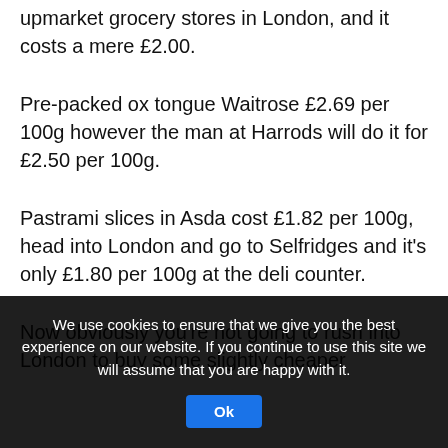upmarket grocery stores in London, and it costs a mere £2.00.
Pre-packed ox tongue Waitrose £2.69 per 100g however the man at Harrods will do it for £2.50 per 100g.
Pastrami slices in Asda cost £1.82 per 100g, head into London and go to Selfridges and it's only £1.80 per 100g at the deli counter.
Now obviously you're not going to rush into London to buy some slightly cheaper
We use cookies to ensure that we give you the best experience on our website. If you continue to use this site we will assume that you are happy with it.